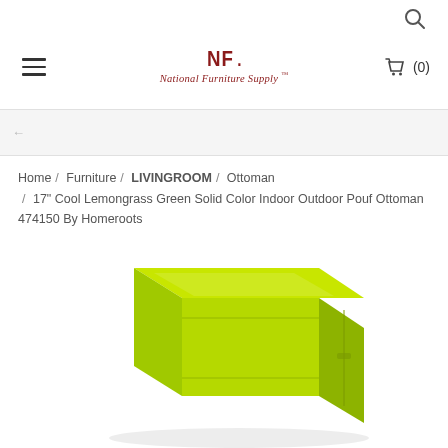NF National Furniture Supply  (0)
Home / Furniture / LIVINGROOM / Ottoman / 17" Cool Lemongrass Green Solid Color Indoor Outdoor Pouf Ottoman 474150 By Homeroots
[Figure (photo): A lemongrass green colored square pouf ottoman photographed from slightly above, showing its fabric surface and stitched seams. The product is vivid yellow-green against a white background.]